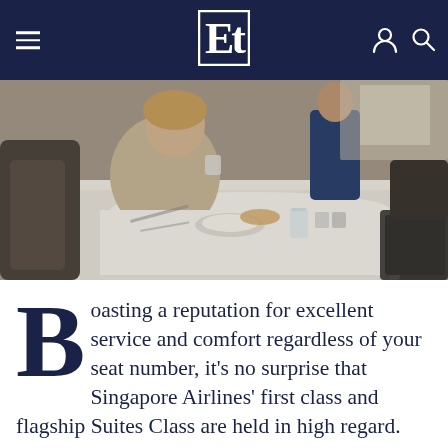Et — navigation header with hamburger menu, logo, user and search icons
[Figure (photo): A woman seated in an airline first-class cabin dining at a white-linen-covered table with food and drinks; a flight attendant stands in the background.]
Boasting a reputation for excellent service and comfort regardless of your seat number, it's no surprise that Singapore Airlines' first class and flagship Suites Class are held in high regard.